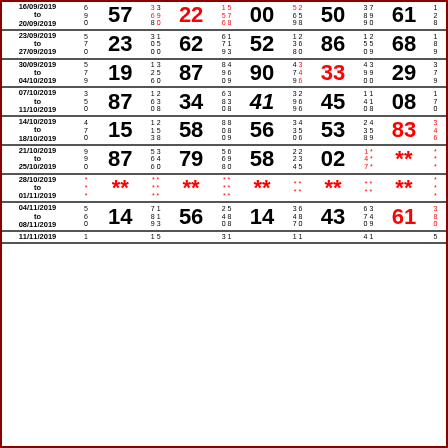| Date | Sm | Big | Pairs | Big | Pairs | Big | Pairs | Big | Pairs | Big | Last |
| --- | --- | --- | --- | --- | --- | --- | --- | --- | --- | --- | --- |
| 16/09/2019 to 20/09/2019 | 6 9 0 | 57 | 3 3 / 6 9 / 8 0 | 22 | 1 5 / 5 7 / 6 8 | 00 | 5 2 / 6 5 / 9 8 | 50 | 3 7 / 8 9 / 9 0 | 61 | 1 2 8 |
| 23/09/2019 to 27/09/2019 | 5 7 0 | 23 | 3 1 / 0 5 / 0 0 | 62 | 6 1 / 7 1 / 9 3 | 52 | 1 2 / 3 6 / 8 0 | 86 | 1 2 / 5 5 / 0 9 | 68 | 1 8 9 |
| 30/09/2019 to 04/10/2019 | 5 7 9 | 19 | 1 3 / 2 5 / 6 0 | 87 | 8 4 / 9 6 / 0 9 | 90 | 4 3 / 7 4 / 9 6 | 33 | 4 3 / 9 9 / 0 0 | 29 | 3 7 9 |
| 07/10/2019 to 11/10/2019 | 3 5 0 | 87 | 1 2 / 6 3 / 0 8 | 34 | 6 3 / 8 3 / 0 8 | 41 | 3 2 / 9 6 / 9 6 | 45 | 1 1 / 4 1 / 0 8 | 08 | 1 7 0 |
| 14/10/2019 to 18/10/2019 | 4 7 0 | 15 | 1 2 / 1 5 / 3 8 | 58 | 8 8 / 0 8 / 0 9 | 56 | 3 4 / 3 5 / 0 6 | 53 | 2 4 / 3 5 / 8 9 | 83 | 3 4 6 |
| 21/10/2019 to 25/10/2019 | 9 9 0 | 87 | 5 3 / 6 4 / 6 0 | 79 | 5 6 / 6 9 / 8 0 | 58 | 2 2 / 2 3 / 4 5 | 02 | 1 * / 4 * / 7 * | ** | * * * |
| 28/10/2019 to 01/11/2019 | * * * | ** | * * / * * / * * | ** | * * / * * / * * | ** | * * / * * | ** | * * / * * | ** | * * * |
| 04/11/2019 to 08/11/2019 | 5 6 0 | 14 | 7 1 / 8 1 / 9 3 | 56 | 2 5 / 4 8 / 0 8 | 14 | 3 6 / 4 8 / 7 0 | 43 | 6 3 / 7 4 / 0 9 | 61 | 3 8 0 |
| 11/11/2019 | 1 | ... | 1 5 | ... | 3 1 | ... | 1 1 | ... | 4 1 | ... | 5 |